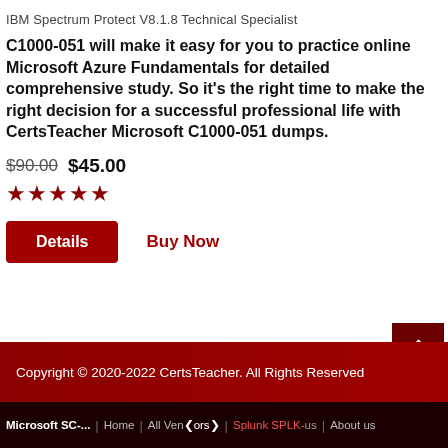IBM Spectrum Protect V8.1.8 Technical Specialist
C1000-051 will make it easy for you to practice online Microsoft Azure Fundamentals for detailed comprehensive study. So it's the right time to make the right decision for a successful professional life with CertsTeacher Microsoft C1000-051 dumps.
$90.00 $45.00 (5 stars rating)
Details  Buy Now
Copyright © 2020-2022 CertsTeacher. All Rights Reserved
Microsoft SC-... | Home | All Vendors | Splunk SPLK-us | About us